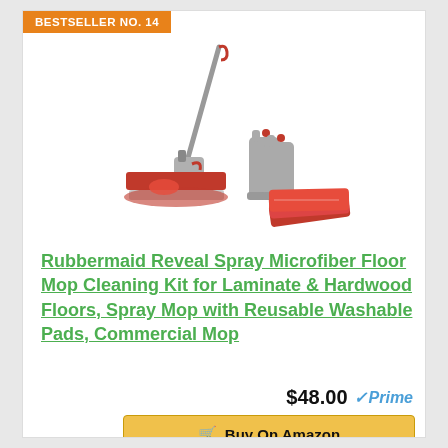BESTSELLER NO. 14
[Figure (photo): Rubbermaid Reveal spray mop with handle, two spray bottles, and red microfiber cleaning pads laid out on white background]
Rubbermaid Reveal Spray Microfiber Floor Mop Cleaning Kit for Laminate & Hardwood Floors, Spray Mop with Reusable Washable Pads, Commercial Mop
$48.00 Prime
Buy On Amazon